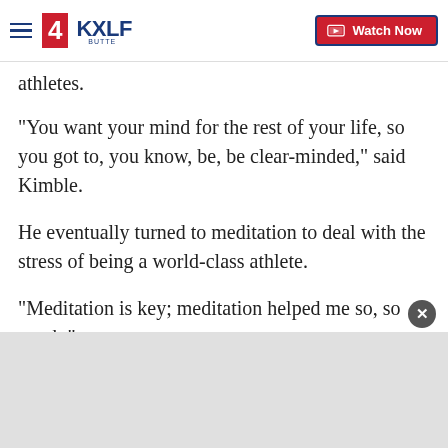4KXLF BUTTE | Watch Now
athletes.
"You want your mind for the rest of your life, so you got to, you know, be, be clear-minded," said Kimble.
He eventually turned to meditation to deal with the stress of being a world-class athlete.
"Meditation is key; meditation helped me so, so much."
Bruce Harrison at TMJ4 first reported this story.
Copyright 2021 Scripps Media, Inc. All rights reserved. This material may not be